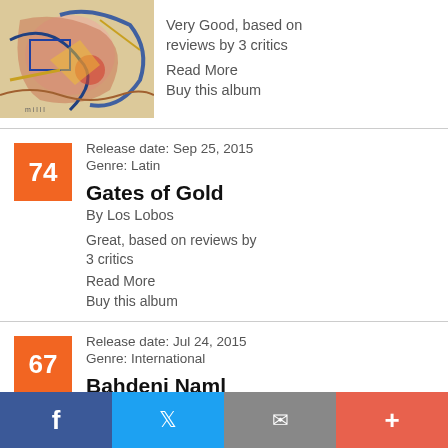[Figure (illustration): Partial album artwork visible at top - colorful abstract/expressionist painting with red, blue, yellow strokes]
Very Good, based on reviews by 3 critics
Read More
Buy this album
Release date: Sep 25, 2015
Genre: Latin
Gates of Gold
By Los Lobos
Great, based on reviews by 3 critics
Read More
Buy this album
Release date: Jul 24, 2015
Genre: International
Bahdeni Naml
f  Twitter  Email  +